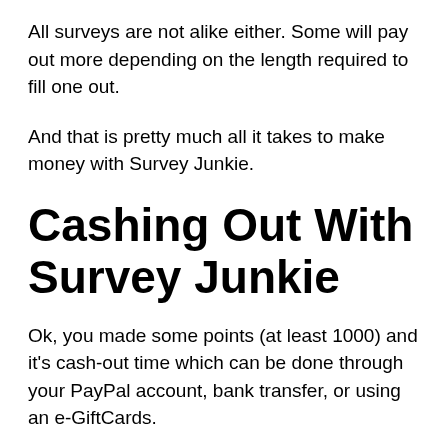All surveys are not alike either. Some will pay out more depending on the length required to fill one out.
And that is pretty much all it takes to make money with Survey Junkie.
Cashing Out With Survey Junkie
Ok, you made some points (at least 1000) and it's cash-out time which can be done through your PayPal account, bank transfer, or using an e-GiftCards.
Cashing out is a breeze with Survey Junkie, all you have to do is meet the min threshold of 1000 points and you can cash out. This equates